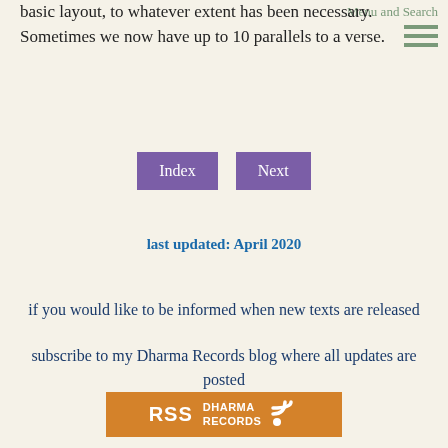Menu and Search
basic layout, to whatever extent has been necessary. Sometimes we now have up to 10 parallels to a verse.
Index   Next
last updated: April 2020
if you would like to be informed when new texts are released
subscribe to my Dharma Records blog where all updates are posted
[Figure (logo): RSS Dharma Records button with orange background and RSS feed icon]